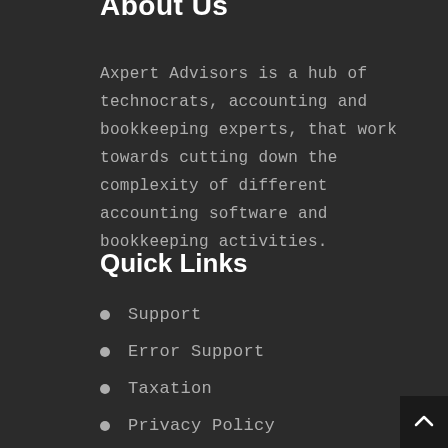About Us
Axpert Advisors is a hub of technocrats, accounting and bookkeeping experts, that work towards cutting down the complexity of different accounting software and bookkeeping activities.
Quick Links
Support
Error Support
Taxation
Privacy Policy
Terms & conditions